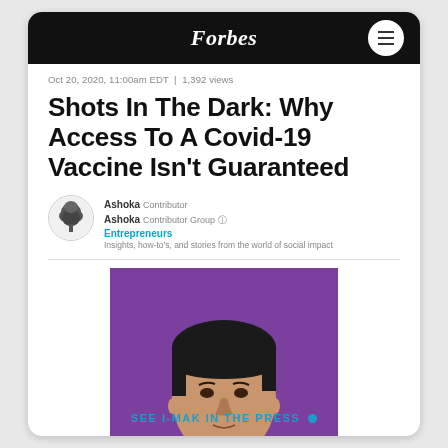Forbes
Oct 20, 2020, 11:00am EDT | 1,392 views
Shots In The Dark: Why Access To A Covid-19 Vaccine Isn't Guaranteed
Ashoka Contributor
Ashoka Contributor Group
Entrepreneurs
Insights, how-to's, and stories from the world of social impact
[Figure (photo): Portrait photo of a woman with short dark hair against a purple background, wearing a blue top]
SEE I-MAK IN THE PRESS